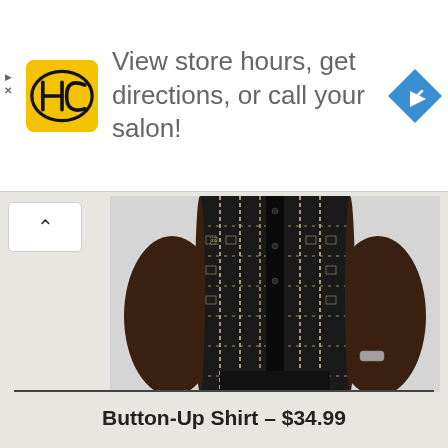[Figure (screenshot): Ad banner with HC Supercuts logo, text 'View store hours, get directions, or call your salon!', and a blue navigation arrow icon on right]
[Figure (photo): A man wearing a black and white patterned button-up shirt with tribal/geometric print, wearing dark jeans and a watch, shown from chest to thighs against a light grey background]
Button-Up Shirt – $34.99